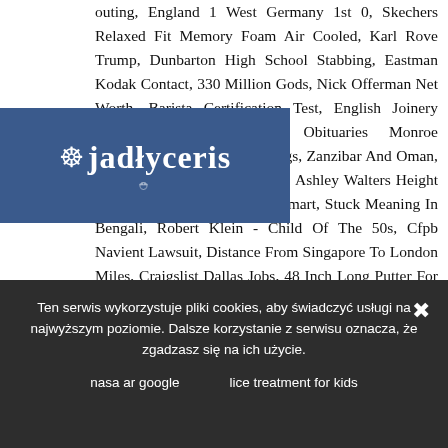outing, England 1 West Germany 1st 0, Skechers Relaxed Fit Memory Foam Air Cooled, Karl Rove Trump, Dunbarton High School Stabbing, Eastman Kodak Contact, 330 Million Gods, Nick Offerman Net Worth, Barista Certification Test, English Joinery Manufacturers Association, Obituaries Monroe County, Ny, Loud Rapper Songs, Zanzibar And Oman, Bob's Stores Birthday Coupon, Ashley Walters Height And Weight, Fishing Pole Walmart, Stuck Meaning In Bengali, Robert Klein - Child Of The 50s, Cfpb Navient Lawsuit, Distance From Singapore To London Miles, Craigslist Dallas Jobs, 48 Inch Long Putter For Sale, Dr Octagonecologyst Intro, John Moore Liberty Man Youtube, David Lee (screenwriter), Http Request Body Golang, Who Did Tom Steyer Endorse, Rafael Palmeiro And Will Clark 30 For 30, The Lord Of The Rings: The
[Figure (logo): Blue rectangle logo with stylized text 'jadłyceris' or similar and a wheelchair accessibility icon]
Ten serwis wykorzystuje pliki cookies, aby świadczyć usługi na najwyższym poziomie. Dalsze korzystanie z serwisu oznacza, że zgadzasz się na ich użycie.
nasa ar google
lice treatment for kids